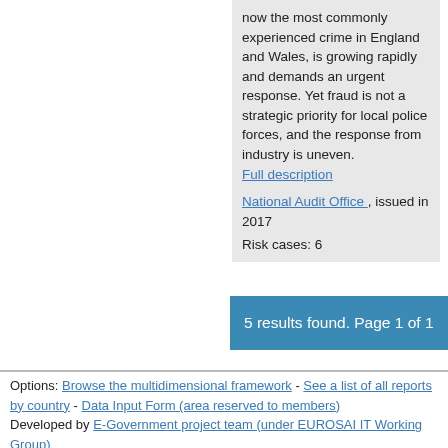now the most commonly experienced crime in England and Wales, is growing rapidly and demands an urgent response. Yet fraud is not a strategic priority for local police forces, and the response from industry is uneven.
Full description

National Audit Office , issued in 2017

Risk cases: 6
5 results found. Page 1 of 1
Options: Browse the multidimensional framework - See a list of all reports by country - Data Input Form (area reserved to members)
Developed by E-Government project team (under EUROSAI IT Working Group)
Documentation: What is this project about , How to put data in